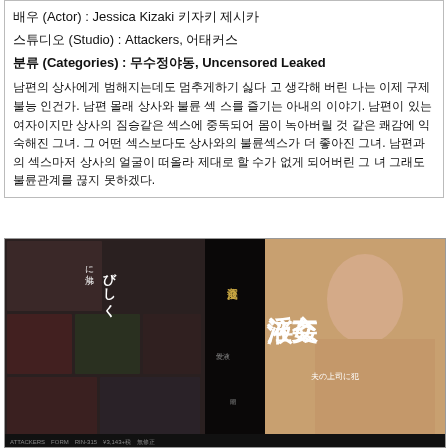배우 (Actor) : Jessica Kizaki 키자키 제시카
스튜디오 (Studio) : Attackers, 어태커스
분류 (Categories) : 무수정야동, Uncensored Leaked
남편의 상사에게 범해지는데도 멈추게하기 싫다 고 생각해 버린 나는 이제 구제불능 인건가. 남편 몰래 상사와 불륜 섹 스를 즐기는 아내의 이야기. 남편이 있는 여자이지만 상사의 짐승같은 섹스에 중독되어 몸이 녹아버릴 것 같은 쾌감에 익숙해진 그녀. 그 어떤 섹스보다도 상사와의 불륜섹스가 더 좋아진 그녀. 남편과의 섹스마저 상사의 얼굴이 떠올라 제대로 할 수가 없게 되어버린 그 녀 그래도 불륜관계를 끊지 못하겠다.
[Figure (photo): DVD cover image featuring Japanese adult video cover art with Japanese text 淫液交姦 and actress photo]